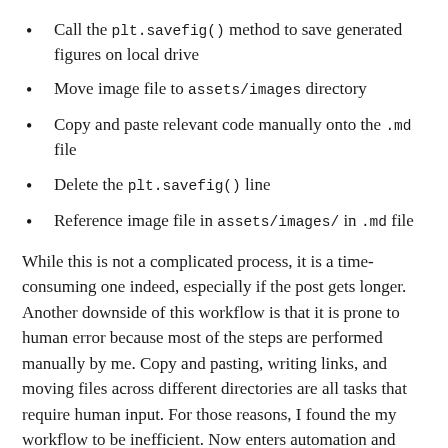Call the plt.savefig() method to save generated figures on local drive
Move image file to assets/images directory
Copy and paste relevant code manually onto the .md file
Delete the plt.savefig() line
Reference image file in assets/images/ in .md file
While this is not a complicated process, it is a time-consuming one indeed, especially if the post gets longer. Another downside of this workflow is that it is prone to human error because most of the steps are performed manually by me. Copy and pasting, writing links, and moving files across different directories are all tasks that require human input. For those reasons, I found the my workflow to be inefficient. Now enters automation and Jupyter Notebooks into the picture.